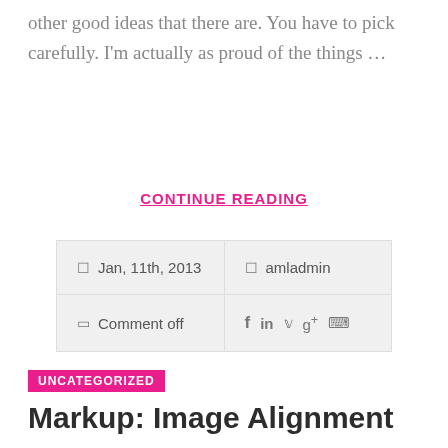other good ideas that there are. You have to pick carefully. I'm actually as proud of the things …
CONTINUE READING
| Jan, 11th, 2013 | amladmin |
| Comment off | f  in  y  g+  p |
UNCATEGORIZED
Markup: Image Alignment
Welcome to image alignment! The best